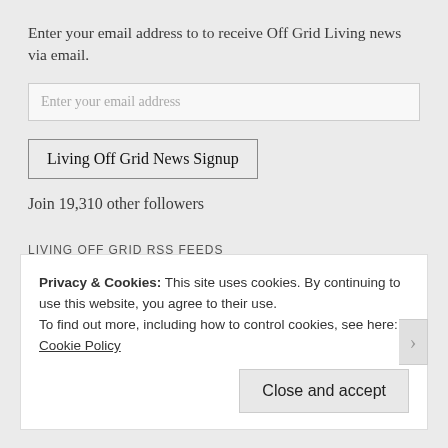Enter your email address to to receive Off Grid Living news via email.
Enter your email address
Living Off Grid News Signup
Join 19,310 other followers
LIVING OFF GRID RSS FEEDS
RSS – Posts
Privacy & Cookies: This site uses cookies. By continuing to use this website, you agree to their use.
To find out more, including how to control cookies, see here: Cookie Policy
Close and accept